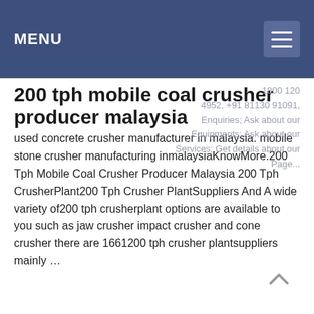MENU
200 tph mobile coal crusher producer malaysia
used concrete crusher manufacturer in malaysia. mobile stone crusher manufacturing inmalaysiaKnowMore.200 Tph Mobile Coal Crusher Producer Malaysia 200 Tph CrusherPlant200 Tph Crusher PlantSuppliers And A wide variety of200 tph crusherplant options are available to you such as jaw crusher impact crusher and cone crusher there are 1661200 tph crusher plantsuppliers mainly …